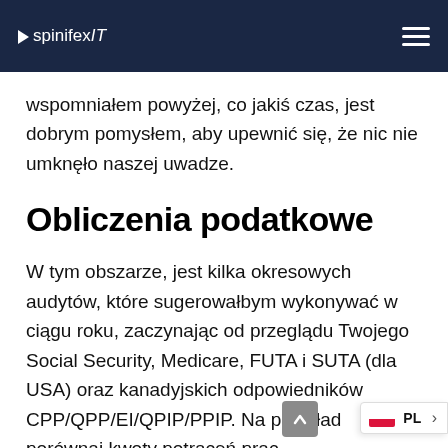spinifexIT
wspomniałem powyżej, co jakiś czas, jest dobrym pomysłem, aby upewnić się, że nic nie umknęło naszej uwadze.
Obliczenia podatkowe
W tym obszarze, jest kilka okresowych audytów, które sugerowałbym wykonywać w ciągu roku, zaczynając od przeglądu Twojego Social Security, Medicare, FUTA i SUTA (dla USA) oraz kanadyjskich odpowiedników CPP/QPP/EI/QPIP/PPIP. Na przykład porównaj kwoty potrąceń prac